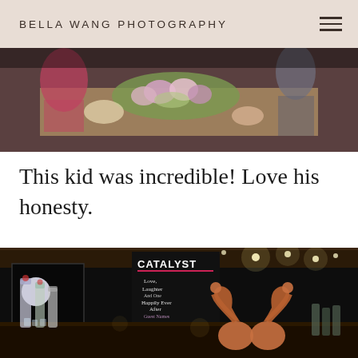BELLA WANG PHOTOGRAPHY
[Figure (photo): Top-down view of a decorated table with floral arrangement, food, and people seated around it at a social event]
This kid was incredible! Love his honesty.
[Figure (photo): Restaurant bar scene at night with Catalyst signage on chalkboard, decorative copper swan figurines, glass bottles, and warm ambient lighting]